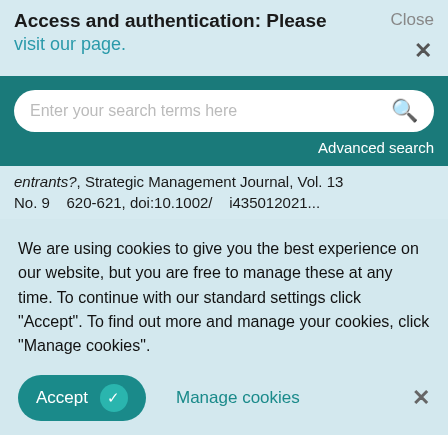Access and authentication: Please visit our page.
[Figure (screenshot): Search bar with placeholder text 'Enter your search terms here' and a magnifying glass icon, on a dark teal background, with 'Advanced search' link below.]
entrants?, Strategic Management Journal, Vol. 13 No. 9 pp. 620-621, doi:10.1002/(...) 435012021...
We are using cookies to give you the best experience on our website, but you are free to manage these at any time. To continue with our standard settings click "Accept". To find out more and manage your cookies, click "Manage cookies".
Accept   Manage cookies
innovation", 2017 International Conference on Engineering, Technology and Innovation (ICE/ITMC)